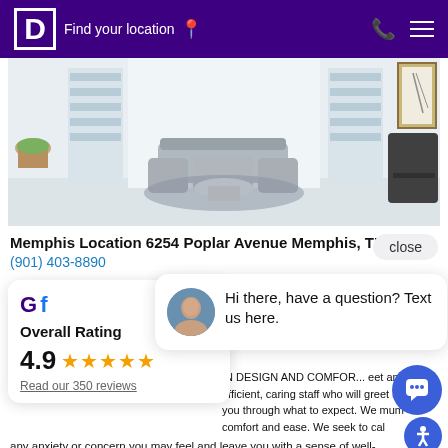D  Find your location
[Figure (photo): Interior of a modern medical/dental office with grey seating, white shelving units, and contemporary decor]
Memphis Location 6254 Poplar Avenue Memphis, TN 38119
(901) 403-8890
close
Overall Rating
4.9
Read our 350 reviews
Hi there, have a question? Text us here.
IN DESIGN AND COMFORT... eet an efficient, caring staff who will greet and guide you through what to expect. We mum comfort and ease. We seek to cal any anxiety or concern you may feel and leave you with a sense of well-